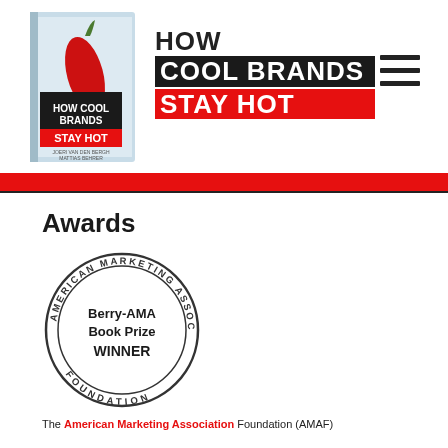[Figure (illustration): Book cover of 'How Cool Brands Stay Hot' with a red chili pepper image]
HOW COOL BRANDS STAY HOT
[Figure (illustration): Hamburger menu icon (three horizontal lines)]
Awards
[Figure (logo): American Marketing Association Foundation Berry-AMA Book Prize WINNER circular seal]
The American Marketing Association Foundation (AMAF)